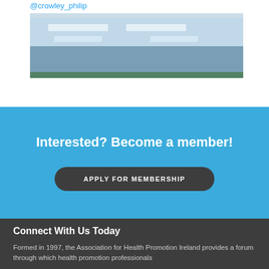@crowley_philip
[Figure (photo): Interior photo of a room with fluorescent ceiling lights on a white ceiling with tiles]
Interested? Become a member!
APPLY FOR MEMBERSHIP
Connect With Us Today
Formed in 1997, the Association for Health Promotion Ireland provides a forum through which health promotion professionals